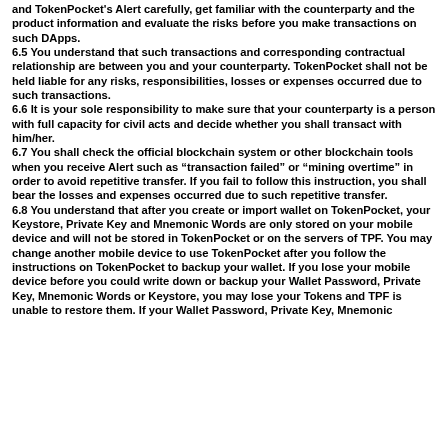and TokenPocket's Alert carefully, get familiar with the counterparty and the product information and evaluate the risks before you make transactions on such DApps. 6.5 You understand that such transactions and corresponding contractual relationship are between you and your counterparty. TokenPocket shall not be held liable for any risks, responsibilities, losses or expenses occurred due to such transactions. 6.6 It is your sole responsibility to make sure that your counterparty is a person with full capacity for civil acts and decide whether you shall transact with him/her. 6.7 You shall check the official blockchain system or other blockchain tools when you receive Alert such as “transaction failed” or “mining overtime” in order to avoid repetitive transfer. If you fail to follow this instruction, you shall bear the losses and expenses occurred due to such repetitive transfer. 6.8 You understand that after you create or import wallet on TokenPocket, your Keystore, Private Key and Mnemonic Words are only stored on your mobile device and will not be stored in TokenPocket or on the servers of TPF. You may change another mobile device to use TokenPocket after you follow the instructions on TokenPocket to backup your wallet. If you lose your mobile device before you could write down or backup your Wallet Password, Private Key, Mnemonic Words or Keystore, you may lose your Tokens and TPF is unable to restore them. If your Wallet Password, Private Key, Mnemonic